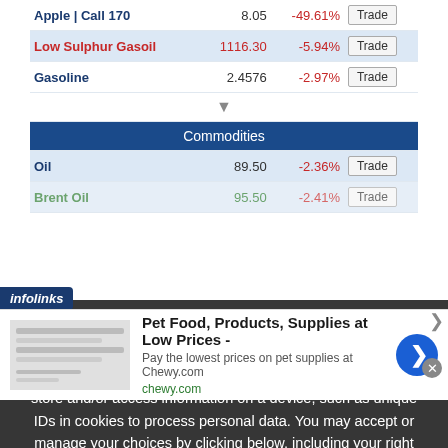| Name | Price | Change% | Action |
| --- | --- | --- | --- |
| Apple | Call 170 | 8.05 | -49.61% | Trade |
| Low Sulphur Gasoil | 1116.30 | -5.94% | Trade |
| Gasoline | 2.4576 | -2.97% | Trade |
| Commodities |  |  |  |
| Oil | 89.50 | -2.36% | Trade |
| Brent Oil | 95.50 | -2.41% | Trade |
We use cookies to ensure that we give you the best experience on our website. If you continue to use this site we will assume that you are happy with it. We and our partners store and/or access information on a device, such as unique IDs in cookies to process personal data. You may accept or manage your choices by clicking below, including your right to object where legitimate interest is used, or at any time in the privacy policy page. These choices will be signalled to our partners and will not affect browsing data. We and our partners process data to provide: Use precise geolocation data. Actively scan device characteristics for identification. Store and/or
[Figure (screenshot): Advertisement for Chewy.com pet supplies with infolinks badge, showing ad title 'Pet Food, Products, Supplies at Low Prices -', description 'Pay the lowest prices on pet supplies at Chewy.com', URL 'chewy.com', a blue circular arrow button, and a close button.]